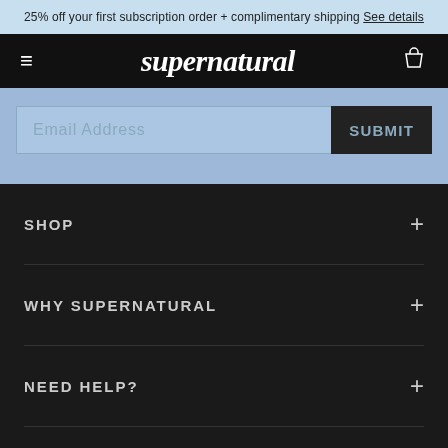25% off your first subscription order + complimentary shipping See details
supernatural
Email Address
SUBMIT
SHOP
WHY SUPERNATURAL
NEED HELP?
SERVICES